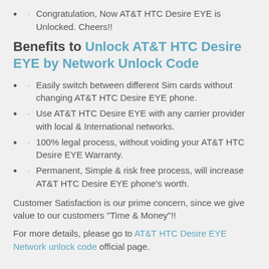· Congratulation, Now AT&T HTC Desire EYE is Unlocked. Cheers!!
Benefits to Unlock AT&T HTC Desire EYE by Network Unlock Code
· Easily switch between different Sim cards without changing AT&T HTC Desire EYE phone.
· Use AT&T HTC Desire EYE with any carrier provider with local & International networks.
· 100% legal process, without voiding your AT&T HTC Desire EYE Warranty.
· Permanent, Simple & risk free process, will increase AT&T HTC Desire EYE phone's worth.
Customer Satisfaction is our prime concern, since we give value to our customers "Time & Money"!!
For more details, please go to AT&T HTC Desire EYE Network unlock code official page.